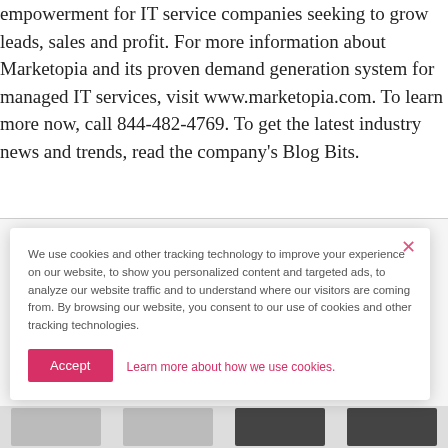empowerment for IT service companies seeking to grow leads, sales and profit. For more information about Marketopia and its proven demand generation system for managed IT services, visit www.marketopia.com. To learn more now, call 844-482-4769. To get the latest industry news and trends, read the company's Blog Bits.
We use cookies and other tracking technology to improve your experience on our website, to show you personalized content and targeted ads, to analyze our website traffic and to understand where our visitors are coming from. By browsing our website, you consent to our use of cookies and other tracking technologies.
Accept
Learn more about how we use cookies.